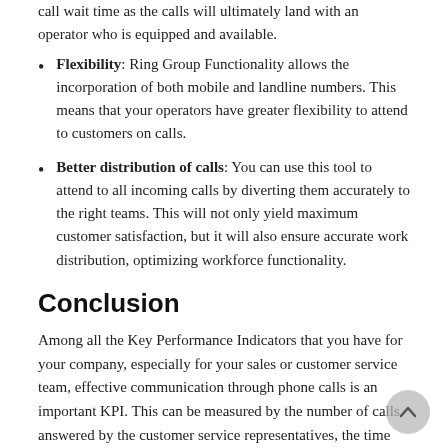call wait time as the calls will ultimately land with an operator who is equipped and available.
Flexibility: Ring Group Functionality allows the incorporation of both mobile and landline numbers. This means that your operators have greater flexibility to attend to customers on calls.
Better distribution of calls: You can use this tool to attend to all incoming calls by diverting them accurately to the right teams. This will not only yield maximum customer satisfaction, but it will also ensure accurate work distribution, optimizing workforce functionality.
Conclusion
Among all the Key Performance Indicators that you have for your company, especially for your sales or customer service team, effective communication through phone calls is an important KPI. This can be measured by the number of calls answered by the customer service representatives, the time each representative spends on a call before hanging up or transferring it to another representative, and the call conversions to sales.